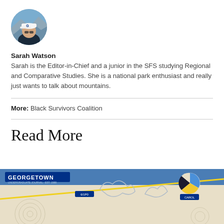[Figure (photo): Circular profile photo of Sarah Watson wearing a white cap with a 'G' logo, outdoors with rocky/mountain scenery in background]
Sarah Watson
Sarah is the Editor-in-Chief and a junior in the SFS studying Regional and Comparative Studies. She is a national park enthusiast and really just wants to talk about mountains.
More: Black Survivors Coalition
Read More
[Figure (screenshot): Partial image of a Georgetown University document/infographic with blue header, pie chart, and map-like outlines]